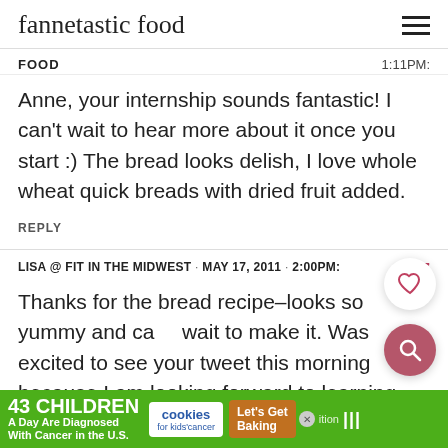fannetastic food
FOOD  1:11PM:
Anne, your internship sounds fantastic! I can't wait to hear more about it once you start :) The bread looks delish, I love whole wheat quick breads with dried fruit added.
REPLY
LISA @ FIT IN THE MIDWEST · MAY 17, 2011 · 2:00PM:
Thanks for the bread recipe–looks so yummy and can't wait to make it. Was excited to see your tweet this morning because I am looking forward to learning more about your internship. The description of it is inspiring
[Figure (other): Advertisement banner: 43 CHILDREN A Day Are Diagnosed With Cancer in the U.S. | cookies for kids' cancer | Let's Get Baking]